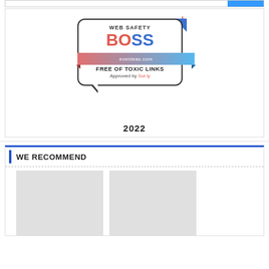[Figure (logo): Web Safety BOSS badge from exeideas.com — speech bubble shape with 'WEB SAFETY' text, 'BOSS' in large red/blue letters, a gradient ribbon with 'exeideas.com', 'FREE OF TOXIC LINKS', 'Approved by Sur.ly' text, a red plus sign and blue corner triangle, year 2022 below]
WE RECOMMEND
[Figure (other): Two placeholder image cards side by side (gray rectangles)]